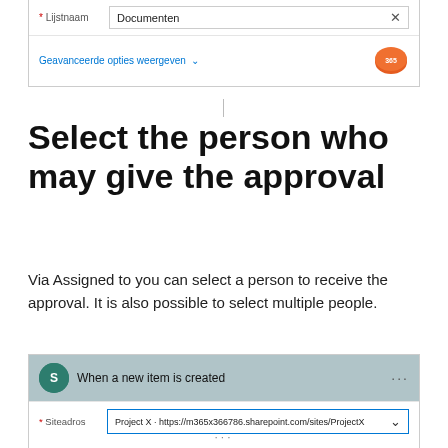[Figure (screenshot): SharePoint form showing * Lijstnaam field filled with 'Documenten' and an X button, with 'Geavanceerde opties weergeven' link and Office 365 cloud logo]
Select the person who may give the approval
Via Assigned to you can select a person to receive the approval. It is also possible to select multiple people.
[Figure (screenshot): Power Automate flow showing 'When a new item is created' trigger with * Siteadros field set to 'Project X · https://m365x366786.sharepoint.com/sites/ProjectX']